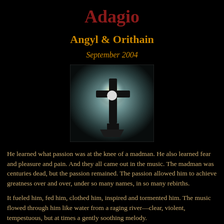Adagio
Angyl & Orithain
September 2004
[Figure (photo): A silhouette of a cross against a bright backlit sky, dark atmospheric image]
He learned what passion was at the knee of a madman. He also learned fear and pleasure and pain. And they all came out in the music. The madman was centuries dead, but the passion remained. The passion allowed him to achieve greatness over and over, under so many names, in so many rebirths.
It fueled him, fed him, clothed him, inspired and tormented him. The music flowed through him like water from a raging river—clear, violent, tempestuous, but at times a gently soothing melody.
He'd been called many things in his long life—prodigy, savant, angel, devil, demon lover and virtuoso. Xiomar found the names